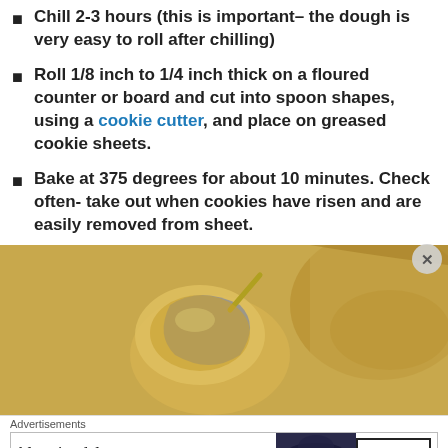Chill 2-3 hours (this is important– the dough is very easy to roll after chilling)
Roll 1/8 inch to 1/4 inch thick on a floured counter or board and cut into spoon shapes, using a cookie cutter, and place on greased cookie sheets.
Bake at 375 degrees for about 10 minutes.  Check often- take out when cookies have risen and are easily removed from sheet.
[Figure (other): Pin it button (Pinterest share button)]
[Figure (photo): Close-up photo of cookie dough being scooped with a metal scoop into a bowl, warm golden-brown tones]
Advertisements
[Figure (other): Bloomingdales advertisement banner: 'bloomingdales - View Today's Top Deals! SHOP NOW >']